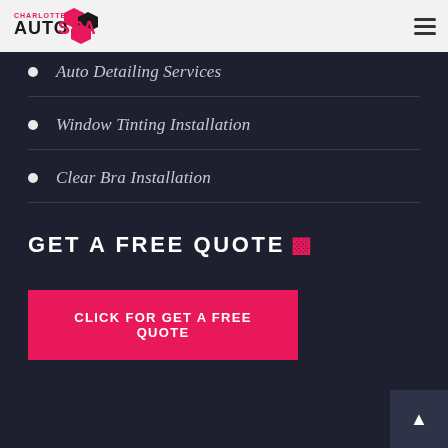[Figure (logo): Charlotte Auto Spa logo with pink and black hexagon shapes]
Auto Detailing Services
Window Tinting Installation
Clear Bra Installation
GET A FREE QUOTE
CLICK FOR GET A FREE QUOTE